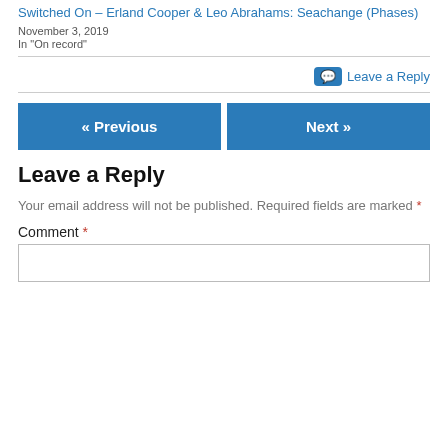Switched On – Erland Cooper & Leo Abrahams: Seachange (Phases)
November 3, 2019
In "On record"
💬 Leave a Reply
« Previous
Next »
Leave a Reply
Your email address will not be published. Required fields are marked *
Comment *